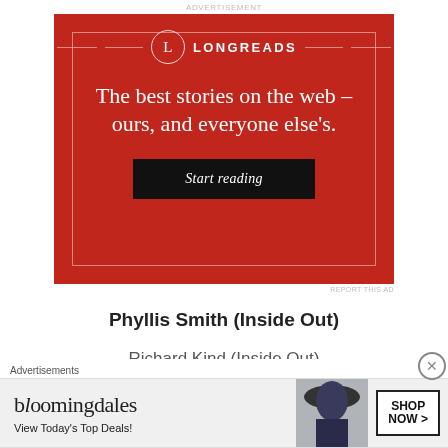ADVERTISEMENT
[Figure (illustration): Longreads advertisement banner on red background. Contains the Longreads logo (circle with L), tagline 'The best stories on the web – ours, and everyone else's.' and a black 'Start reading' button.]
REPORT THIS AD
Phyllis Smith (Inside Out)
Richard Kind (Inside Out)
Advertisements
[Figure (illustration): Bloomingdale's advertisement banner showing brand name, 'View Today's Top Deals!' text, woman with large hat, and 'SHOP NOW >' button.]